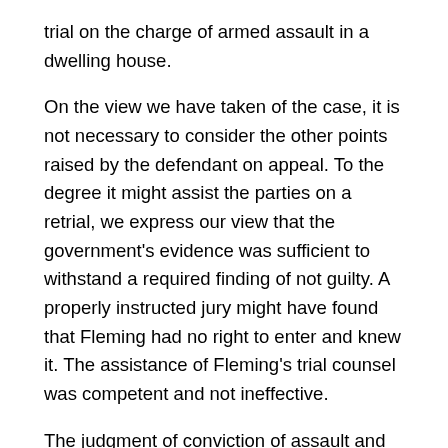trial on the charge of armed assault in a dwelling house.
On the view we have taken of the case, it is not necessary to consider the other points raised by the defendant on appeal. To the degree it might assist the parties on a retrial, we express our view that the government's evidence was sufficient to withstand a required finding of not guilty. A properly instructed jury might have found that Fleming had no right to enter and knew it. The assistance of Fleming's trial counsel was competent and not ineffective.
The judgment of conviction of assault and battery is affirmed. The judgment of conviction of armed assault in a dwelling is reversed, and the verdict is set aside.